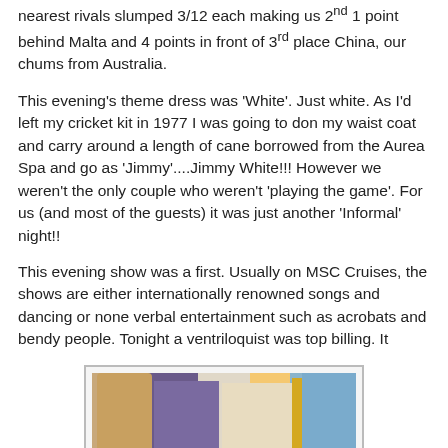nearest rivals slumped 3/12 each making us 2nd 1 point behind Malta and 4 points in front of 3rd place China, our chums from Australia.
This evening's theme dress was 'White'. Just white. As I'd left my cricket kit in 1977 I was going to don my waist coat and carry around a length of cane borrowed from the Aurea Spa and go as 'Jimmy'....Jimmy White!!! However we weren't the only couple who weren't 'playing the game'. For us (and most of the guests) it was just another 'Informal' night!!
This evening show was a first. Usually on MSC Cruises, the shows are either internationally renowned songs and dancing or none verbal entertainment such as acrobats and bendy people. Tonight a ventriloquist was top billing. It
[Figure (photo): A photo showing a group of people, partially visible at the bottom of the page, appearing to be at a cruise event.]